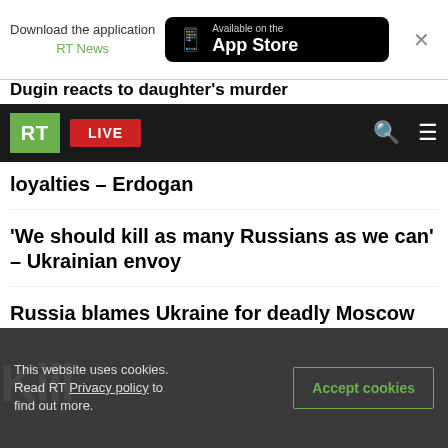[Figure (screenshot): App download banner with RT News app store promotion]
Dugin reacts to daughter's murder
[Figure (screenshot): RT website navigation bar with green RT logo, red LIVE button, search icon and hamburger menu on black background]
loyalties – Erdogan
'We should kill as many Russians as we can' – Ukrainian envoy
Russia blames Ukraine for deadly Moscow blast
EU considering 'big Ukraine mission' – top diplomat
Russia assesses possibility of ending Ukraine conflict
This website uses cookies. Read RT Privacy policy to find out more.